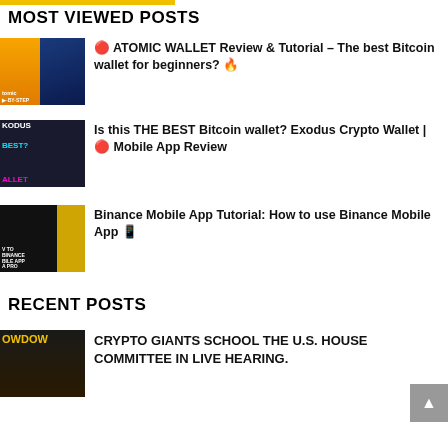MOST VIEWED POSTS
🔴 ATOMIC WALLET Review & Tutorial – The best Bitcoin wallet for beginners? 🔥
Is this THE BEST Bitcoin wallet? Exodus Crypto Wallet | 🔴 Mobile App Review
Binance Mobile App Tutorial: How to use Binance Mobile App 📱
RECENT POSTS
CRYPTO GIANTS SCHOOL THE U.S. HOUSE COMMITTEE IN LIVE HEARING.